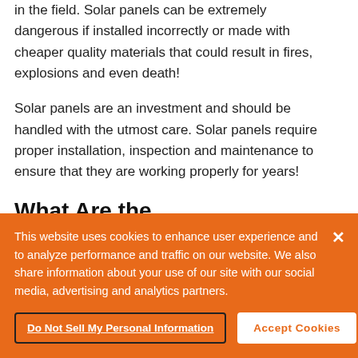in the field. Solar panels can be extremely dangerous if installed incorrectly or made with cheaper quality materials that could result in fires, explosions and even death!
Solar panels are an investment and should be handled with the utmost care. Solar panels require proper installation, inspection and maintenance to ensure that they are working properly for years!
What Are the
This website uses cookies to enhance user experience and to analyze performance and traffic on our website. We also share information about your use of our site with our social media, advertising and analytics partners.